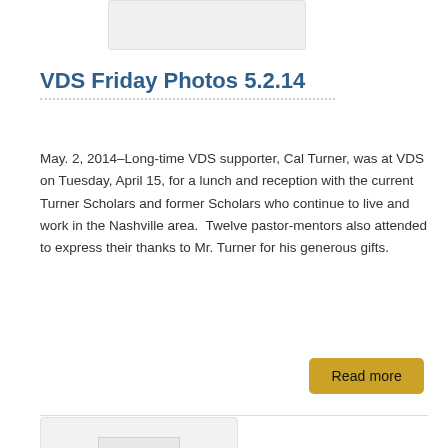[Figure (photo): Partial image box visible at top of page, cropped]
VDS Friday Photos 5.2.14
May. 2, 2014–Long-time VDS supporter, Cal Turner, was at VDS on Tuesday, April 15, for a lunch and reception with the current Turner Scholars and former Scholars who continue to live and work in the Nashville area.  Twelve pastor-mentors also attended to express their thanks to Mr. Turner for his generous gifts.
[Figure (photo): Image card with VDS logo placeholder at bottom of page]